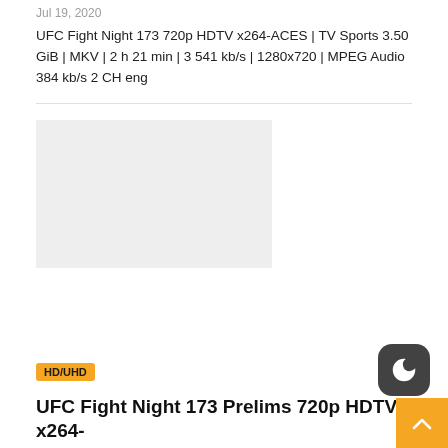Jul 19, 2020
UFC Fight Night 173 720p HDTV x264-ACES | TV Sports 3.50 GiB | MKV | 2 h 21 min | 3 541 kb/s | 1280x720 | MPEG Audio 384 kb/s 2 CH eng
[Figure (other): Light grey placeholder rectangle for an image or video thumbnail]
HD/UHD
UFC Fight Night 173 Prelims 720p HDTV x264-ACES